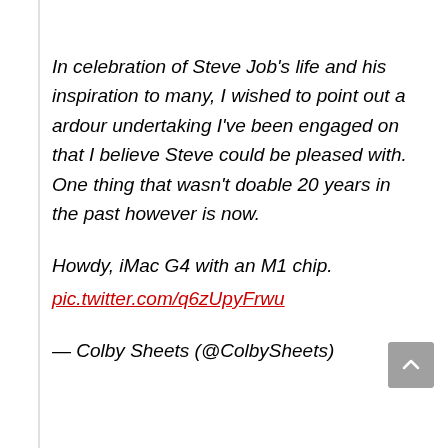In celebration of Steve Job's life and his inspiration to many, I wished to point out a ardour undertaking I've been engaged on that I believe Steve could be pleased with. One thing that wasn't doable 20 years in the past however is now.
Howdy, iMac G4 with an M1 chip.
pic.twitter.com/q6zUpyFrwu
— Colby Sheets (@ColbySheets)